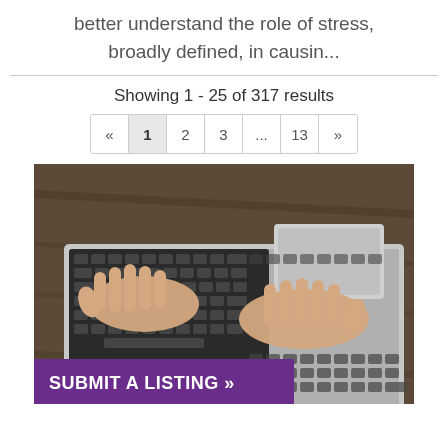better understand the role of stress, broadly defined, in causin...
Showing 1 - 25 of 317 results
[Figure (screenshot): Pagination control showing pages: « 1 2 3 ... 13 »]
[Figure (photo): Hands typing on a laptop keyboard on a wooden desk, with a purple 'SUBMIT A LISTING »' banner overlaid at the bottom left]